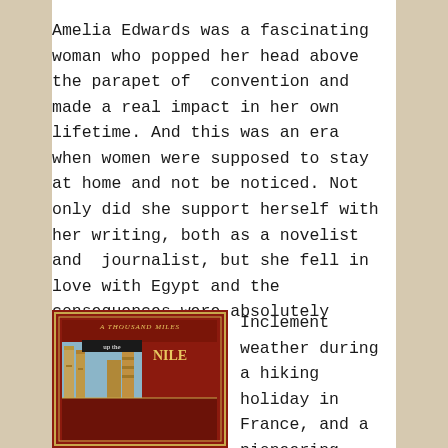Amelia Edwards was a fascinating woman who popped her head above the parapet of  convention and made a real impact in her own lifetime. And this was an era when women were supposed to stay at home and not be noticed. Not only did she support herself with her writing, both as a novelist and  journalist, but she fell in love with Egypt and the consequences were absolutely wonderful.
[Figure (illustration): Book cover of 'A Thousand Miles up the Nile' by Amelia B Edwards. Dark red/maroon cover with decorative gold border, showing Egyptian columns and architectural elements. Title text reads 'A Thousand Miles up the Nile By Amelia B Edwards'.]
Inclement weather during a hiking holiday in France, and a pioneering